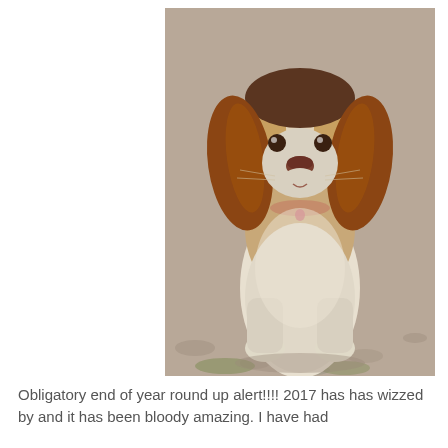[Figure (photo): A Springer Spaniel dog with brown and white fur sitting upright on a gravel/dirt ground, looking directly at the camera. The dog has long wavy brown ears and a fluffy white chest.]
Obligatory end of year round up alert!!!! 2017 has has wizzed by and it has been bloody amazing. I have had